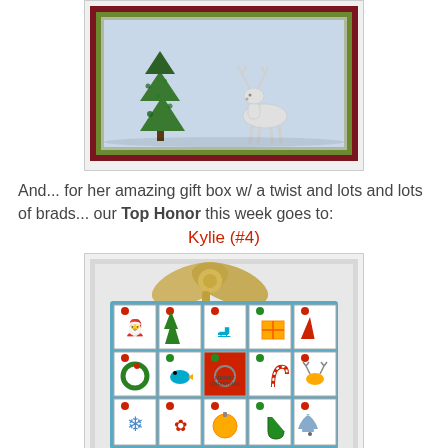[Figure (photo): Christmas card craft with a quilled green tree and a silver/white reindeer on a light blue background, mounted on olive green and dark red card stock.]
And... for her amazing gift box w/ a twist and lots and lots of brads... our Top Honor this week goes to:
Kylie (#4)
[Figure (photo): A decorative advent-style gift box with a gold bow on top, featuring a 5x3 grid of small square compartments each containing a stamped Christmas image (Santa, tree, skates, gift, hat, wreath, bird, Merry Christmas, candy cane, reindeer, snowflake, poinsettia, ornament, stocking, bell) with colorful brad accents.]
Congrats to all of you and thanks for playing along!  Don't